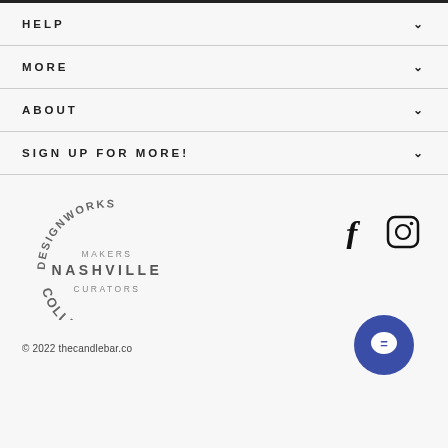HELP
MORE
ABOUT
SIGN UP FOR MORE!
[Figure (logo): Designworks Makers Nashville Curators Collective circular logo in grey text]
[Figure (other): Facebook and Instagram social media icons]
[Figure (other): Blue circular chat button with speech bubble icon]
© 2022 thecandlebar.co